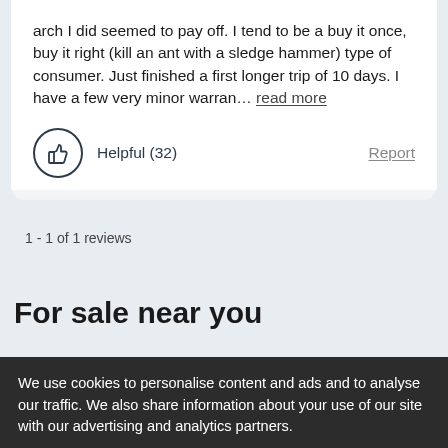arch I did seemed to pay off. I tend to be a buy it once, buy it right (kill an ant with a sledge hammer) type of consumer. Just finished a first longer trip of 10 days. I have a few very minor warran… read more
Helpful (32)
Report
1 - 1 of 1 reviews
For sale near you
We use cookies to personalise content and ads and to analyse our traffic. We also share information about your use of our site with our advertising and analytics partners.